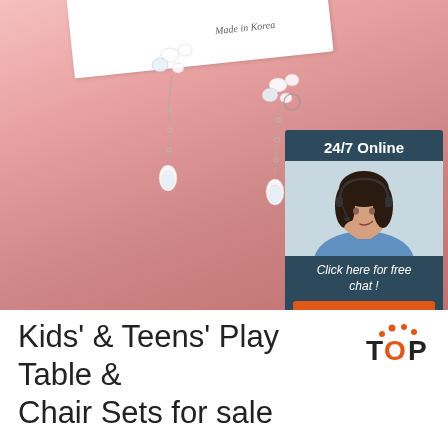[Figure (photo): Product photo showing crystal drop earrings on a pink background with a white card labeled 'Made in Korea'. An overlay chat widget on the right shows '24/7 Online', a woman with headset, 'Click here for free chat!' text, and an orange 'QUOTATION' button.]
Kids' & Teens' Play Table & Chair Sets for sale